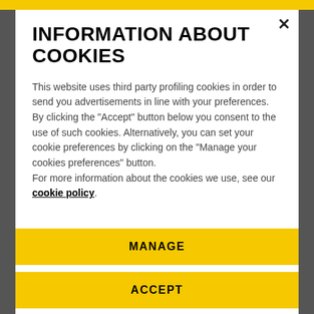INFORMATION ABOUT COOKIES
This website uses third party profiling cookies in order to send you advertisements in line with your preferences.
By clicking the "Accept" button below you consent to the use of such cookies. Alternatively, you can set your cookie preferences by clicking on the "Manage your cookies preferences" button.
For more information about the cookies we use, see our cookie policy.
MANAGE
ACCEPT